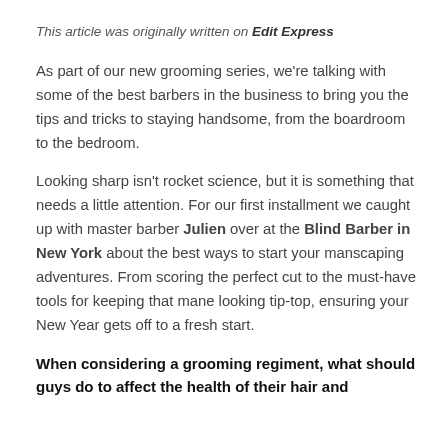This article was originally written on Edit Express
As part of our new grooming series, we're talking with some of the best barbers in the business to bring you the tips and tricks to staying handsome, from the boardroom to the bedroom.
Looking sharp isn't rocket science, but it is something that needs a little attention. For our first installment we caught up with master barber Julien over at the Blind Barber in New York about the best ways to start your manscaping adventures. From scoring the perfect cut to the must-have tools for keeping that mane looking tip-top, ensuring your New Year gets off to a fresh start.
When considering a grooming regiment, what should guys do to affect the health of their hair and